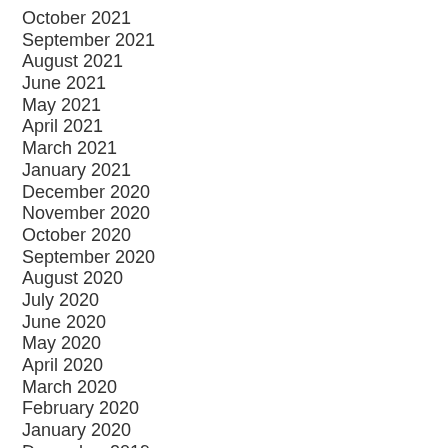October 2021
September 2021
August 2021
June 2021
May 2021
April 2021
March 2021
January 2021
December 2020
November 2020
October 2020
September 2020
August 2020
July 2020
June 2020
May 2020
April 2020
March 2020
February 2020
January 2020
December 2019